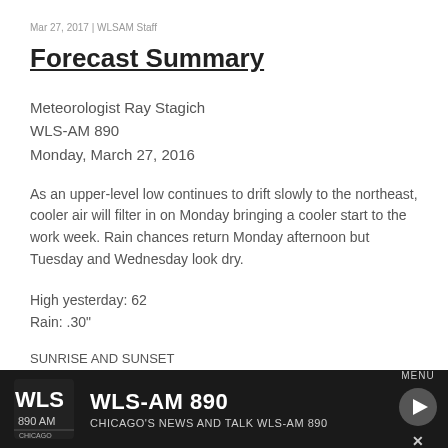Mar 27, 2017 | WLSAM Staff
Forecast Summary
Meteorologist Ray Stagich
WLS-AM 890
Monday, March 27, 2016
As an upper-level low continues to drift slowly to the northeast, cooler air will filter in on Monday bringing a cooler start to the work week. Rain chances return Monday afternoon but Tuesday and Wednesday look dry.
High yesterday: 62
Rain: .30"
SUNRISE AND SUNSET
MARCH 27 2017 – SUNRISE 642 AM CDT SUNSET 712 PM CDT